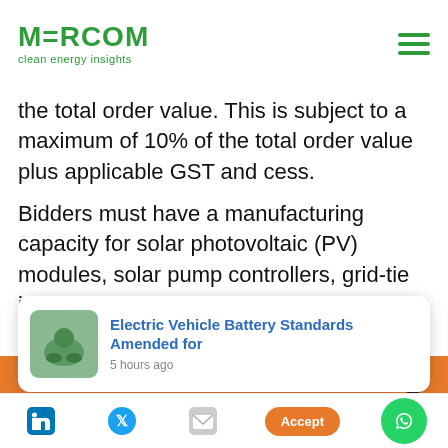MERCOM clean energy insights
the total order value. This is subject to a maximum of 10% of the total order value plus applicable GST and cess.
Bidders must have a manufacturing capacity for solar photovoltaic (PV) modules, solar pump controllers, grid-tie inverters, or a PV system integrator with three years of experience in off-grid and grid-connected PV
Cookies
To make this site work properly, we sometimes place small data files called cookies on your device. Most big websites do this too.
Electric Vehicle Battery Standards Amended for
5 hours ago